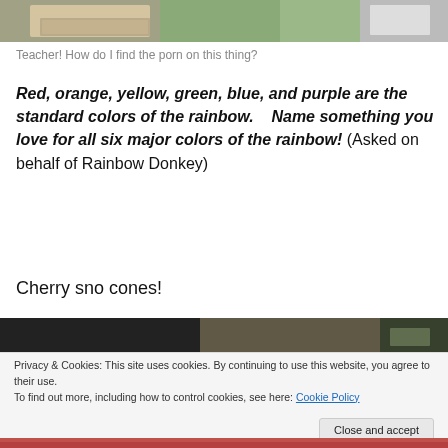[Figure (photo): Top portion of a photo showing a person at a computer/keyboard with equipment visible]
Teacher! How do I find the porn on this thing?
Red, orange, yellow, green, blue, and purple are the standard colors of the rainbow.    Name something you love for all six major colors of the rainbow! (Asked on behalf of Rainbow Donkey)
Cherry sno cones!
[Figure (photo): Dark indoor photo, partial room view]
Privacy & Cookies: This site uses cookies. By continuing to use this website, you agree to their use.
To find out more, including how to control cookies, see here: Cookie Policy
Close and accept
[Figure (photo): Bottom partial photo, red/warm tones]